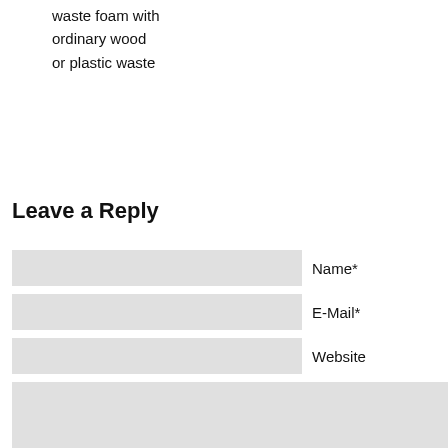waste foam with ordinary wood or plastic waste
Leave a Reply
Name*
E-Mail*
Website